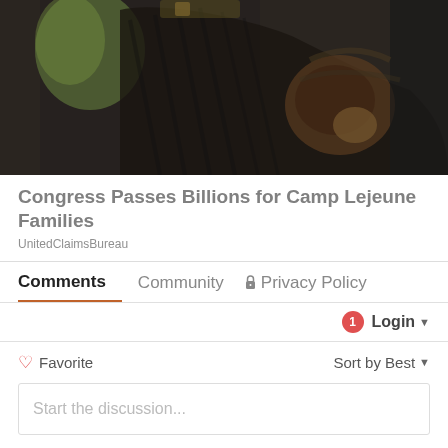[Figure (photo): Close-up photo of a military service member holding or interacting with a dog, dark tactical/military clothing visible, blurred background]
Congress Passes Billions for Camp Lejeune Families
UnitedClaimsBureau
Comments   Community   🔒 Privacy Policy
Login ▾
♡ Favorite
Sort by Best ▾
Start the discussion...
LOG IN WITH
[Figure (logo): Social login icons: Disqus (blue D), Facebook (dark blue F), Twitter (light blue bird), Google (red G)]